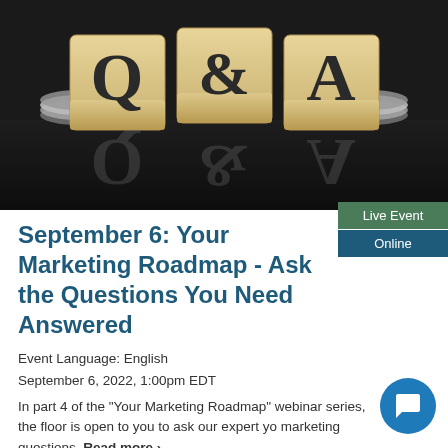[Figure (photo): Wooden letter blocks spelling Q&A with stacked coins on a dark reflective surface]
September 6: Your Marketing Roadmap - Ask the Questions You Need Answered
Live Event
Online
Event Language: English
September 6, 2022, 1:00pm EDT
In part 4 of the "Your Marketing Roadmap" webinar series, the floor is open to you to ask our expert your marketing questions. Read more ›